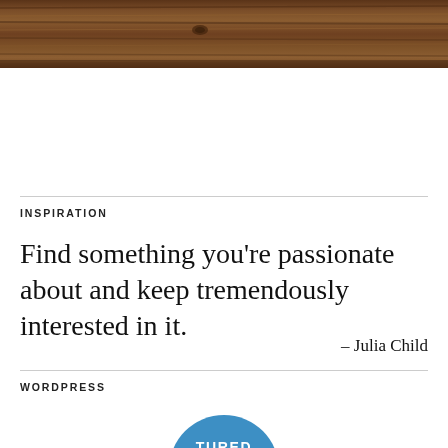[Figure (photo): Wood texture banner image with dark brown wood grain pattern]
INSPIRATION
Find something you're passionate about and keep tremendously interested in it.
– Julia Child
WORDPRESS
[Figure (logo): Partially visible circular badge with text 'TURED' visible, blue background]